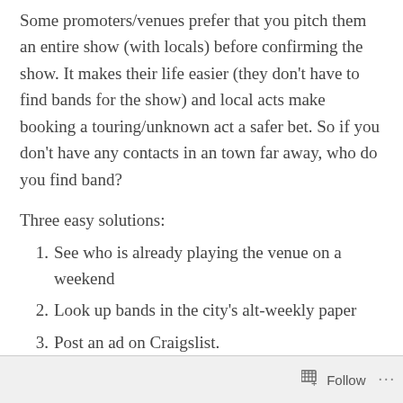Some promoters/venues prefer that you pitch them an entire show (with locals) before confirming the show. It makes their life easier (they don't have to find bands for the show) and local acts make booking a touring/unknown act a safer bet. So if you don't have any contacts in an town far away, who do you find band?
Three easy solutions:
See who is already playing the venue on a weekend
Look up bands in the city's alt-weekly paper
Post an ad on Craigslist.
When you can't fill in a date or run out of venues